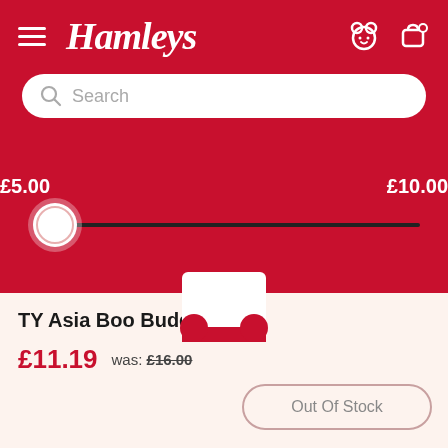Hamleys
Search
£5.00   £10.00
TY Asia Boo Buddy
£11.19  was: £16.00
Out Of Stock